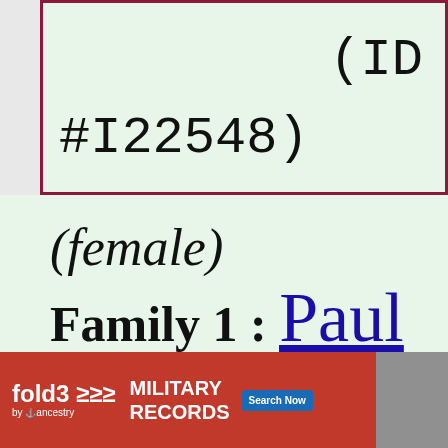(ID #I22548)
(female) Family 1 : Paul GIRARDET
[Figure (screenshot): Advertisement banner for fold3 by Ancestry: Military Records, Search Now]